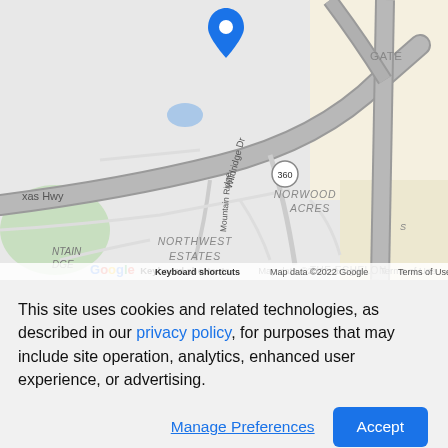[Figure (map): Google Maps screenshot showing area near Texas Hwy 360, with neighborhoods Norwood Acres, Northwest Estates, and Mountain Ridge visible. A blue location pin is shown near the top center. Zoom in/out controls visible on right side. Map data ©2022 Google.]
View larger map and directions on Google Maps
This site uses cookies and related technologies, as described in our privacy policy, for purposes that may include site operation, analytics, enhanced user experience, or advertising.
Manage Preferences
Accept